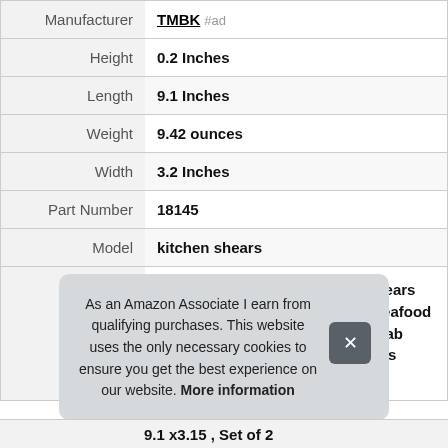| Attribute | Value |
| --- | --- |
| Manufacturer | TMBK #ad |
| Height | 0.2 Inches |
| Length | 9.1 Inches |
| Weight | 9.42 ounces |
| Width | 3.2 Inches |
| Part Number | 18145 |
| Model | kitchen shears |
|  | Kitchen Scissors Set kitchen shears Poultry Shears Meat Scissors Seafood Lobster Scissors Heavy Duty Crab Scissors Cooking Utility Scissors Multifunctional Shears for |
|  | 9.1 x3.15 , Set of 2 |
As an Amazon Associate I earn from qualifying purchases. This website uses the only necessary cookies to ensure you get the best experience on our website. More information